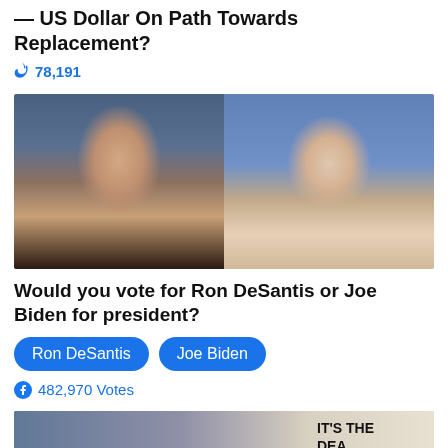— US Dollar On Path Towards Replacement?
🔥 78,191
[Figure (photo): Side-by-side photos of Ron DeSantis (left, in suit with American flag background) and Joe Biden (right, in light shirt with blue background)]
Would you vote for Ron DeSantis or Joe Biden for president?
Ron DeSantis   Joe Biden
482,970 Votes
[Figure (photo): Partial image at bottom showing text 'IT'S THE DEAD...' with American flag visible]